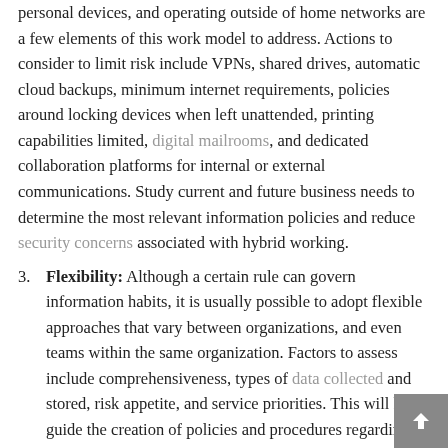personal devices, and operating outside of home networks are a few elements of this work model to address. Actions to consider to limit risk include VPNs, shared drives, automatic cloud backups, minimum internet requirements, policies around locking devices when left unattended, printing capabilities limited, digital mailrooms, and dedicated collaboration platforms for internal or external communications. Study current and future business needs to determine the most relevant information policies and reduce security concerns associated with hybrid working.
3. Flexibility: Although a certain rule can govern information habits, it is usually possible to adopt flexible approaches that vary between organizations, and even teams within the same organization. Factors to assess include comprehensiveness, types of data collected and stored, risk appetite, and service priorities. This will help guide the creation of policies and procedures regarding information management and security. To maintain the